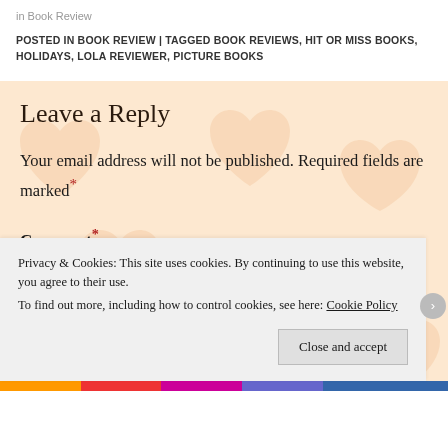in Book Review
POSTED IN BOOK REVIEW | TAGGED BOOK REVIEWS, HIT OR MISS BOOKS, HOLIDAYS, LOLA REVIEWER, PICTURE BOOKS
Leave a Reply
Your email address will not be published. Required fields are marked*
Comment*
Privacy & Cookies: This site uses cookies. By continuing to use this website, you agree to their use. To find out more, including how to control cookies, see here: Cookie Policy
Close and accept